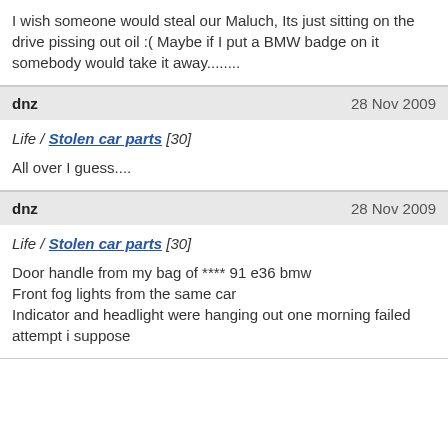I wish someone would steal our Maluch, Its just sitting on the drive pissing out oil :( Maybe if I put a BMW badge on it somebody would take it away........
dnz  28 Nov 2009
Life / Stolen car parts [30]
All over I guess....
dnz  28 Nov 2009
Life / Stolen car parts [30]
Door handle from my bag of **** 91 e36 bmw
Front fog lights from the same car
Indicator and headlight were hanging out one morning failed attempt i suppose